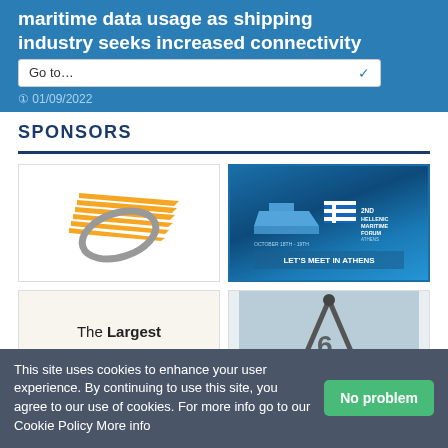maritime data usage as shipping industry seeks increased connectivity
01/09/2022
SPONSORS
[Figure (logo): Speedy/Wings logo - orange wing stripes with grey oval ring]
[Figure (logo): 2nd Hellenic Maritime Forum Athens - October 18th-19th - Let's Meet in Athens - blue maritime themed banner]
[Figure (logo): The Largest Buyer of Ships - text on cream background]
[Figure (photo): Maritime crane/ship equipment photo]
This site uses cookies to enhance your user experience. By continuing to use this site, you agree to our use of cookies. For more info go to our Cookie Policy More info